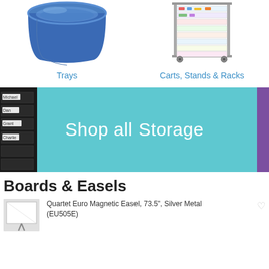[Figure (photo): Blue plastic storage tray viewed from an angle]
[Figure (photo): Multi-drawer rolling storage cart with colorful supplies in clear drawers on a metal frame with wheels]
Trays
Carts, Stands & Racks
[Figure (photo): Banner with teal background showing black drawer unit on left and purple bin on right, text: Shop all Storage]
Boards & Easels
[Figure (photo): Small thumbnail image of a board/easel product]
Quartet Euro Magnetic Easel, 73.5", Silver Metal (EU505E)